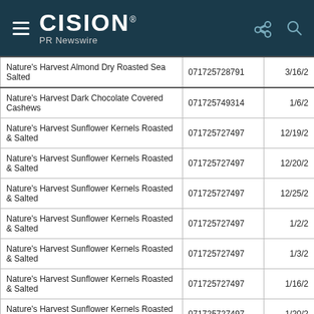CISION PR Newswire
| Product | UPC | Date |
| --- | --- | --- |
| Nature's Harvest Almond Dry Roasted Sea Salted | 071725728791 | 3/16/2 |
| Nature's Harvest Dark Chocolate Covered Cashews | 071725749314 | 1/6/2 |
| Nature's Harvest Sunflower Kernels Roasted & Salted | 071725727497 | 12/19/2 |
| Nature's Harvest Sunflower Kernels Roasted & Salted | 071725727497 | 12/20/2 |
| Nature's Harvest Sunflower Kernels Roasted & Salted | 071725727497 | 12/25/2 |
| Nature's Harvest Sunflower Kernels Roasted & Salted | 071725727497 | 1/2/2 |
| Nature's Harvest Sunflower Kernels Roasted & Salted | 071725727497 | 1/3/2 |
| Nature's Harvest Sunflower Kernels Roasted & Salted | 071725727497 | 1/16/2 |
| Nature's Harvest Sunflower Kernels Roasted & Salted | 071725727497 | 1/20/2 |
| Nature's Harvest Sunflower Kernels Roasted & Unsalted | 071725727503 | 11/25/2 |
| Nature's Harvest Sunflower Kernels Roasted & Unsalted | 071725727503 | 11/26/2 |
| Nature's Harvest Sunflower Kernels Roasted & Unsalted | 071725727503 | 12/4/2 |
| Nature's Harvest Sunflower Kernels Roasted & Unsalted | 071725727503 |  |
| Nature's Harvest Sunflower Kernels Roasted & |  |  |